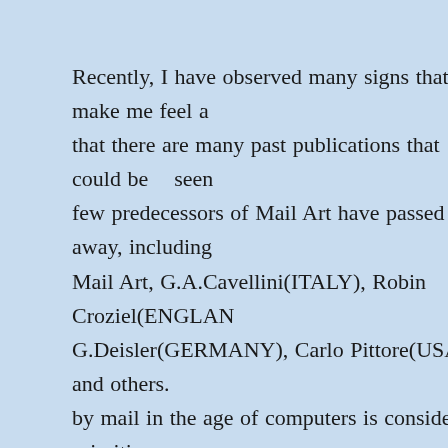Recently, I have observed many signs that make me feel a that there are many past publications that could be seen few predecessors of Mail Art have passed away, including Mail Art, G.A.Cavellini(ITALY), Robin Croziel(ENGLAN G.Deisler(GERMANY), Carlo Pittore(USA), and others. by mail in the age of computers is considered primitive, a between the East and the West, the necessity of correspon worlds has been lost. On the other hand, I have been regul in response to my BRAIN CELL PROJECT dating from t numbered issue no.652, as of June 2006. Every time I rece and more new participants. After making them a collage o stickers and the like, I make it a rule to send the finished p Art is far from finishing. I appreciate the role of collabora new participants each time, but it is more important to be